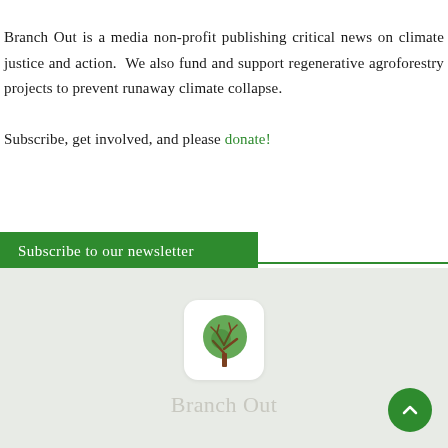Branch Out is a media non-profit publishing critical news on climate justice and action.  We also fund and support regenerative agroforestry projects to prevent runaway climate collapse.

Subscribe, get involved, and please donate!
Subscribe to our newsletter
[Figure (logo): Branch Out logo: a stylized tree with brown trunk and green circular canopy, on white rounded-square background]
Branch Out